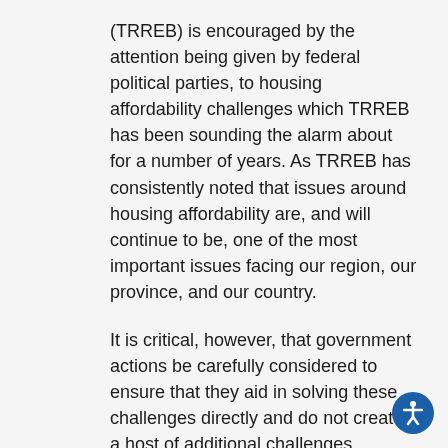(TRREB) is encouraged by the attention being given by federal political parties, to housing affordability challenges which TRREB has been sounding the alarm about for a number of years. As TRREB has consistently noted that issues around housing affordability are, and will continue to be, one of the most important issues facing our region, our province, and our country.
It is critical, however, that government actions be carefully considered to ensure that they aid in solving these challenges directly and do not create a host of additional challenges. Consumer choice and consumer privacy should be paramount in shaping government policy. Federal public policy should recognize the right that consumers have to privacy, and should allow them to consent to the disclosure of personal